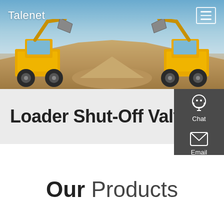Talenet
[Figure (photo): Hero banner showing two large yellow wheel loaders facing each other with raised buckets, against a blue sky with a dirt/sand mound in the background. Talenet branding in top left, hamburger menu icon in top right.]
Loader Shut-Off Valve
[Figure (infographic): Dark gray side panel with three icons and labels: Chat (headset icon), Email (envelope icon), Contact (speech bubble icon), separated by red divider lines.]
Our Products